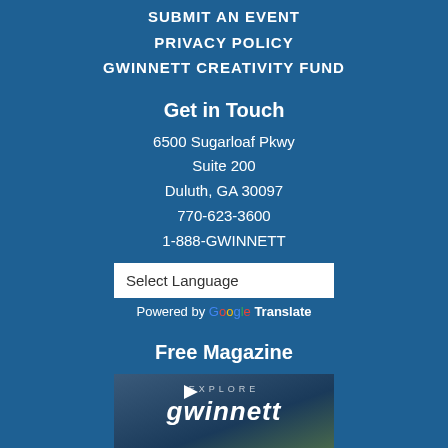SUBMIT AN EVENT
PRIVACY POLICY
GWINNETT CREATIVITY FUND
Get in Touch
6500 Sugarloaf Pkwy
Suite 200
Duluth, GA 30097
770-623-3600
1-888-GWINNETT
Select Language
Powered by Google Translate
Free Magazine
[Figure (photo): Explore Gwinnett magazine cover with 'gwinnett' text in bold italic white letters on a dark background with a play button icon]